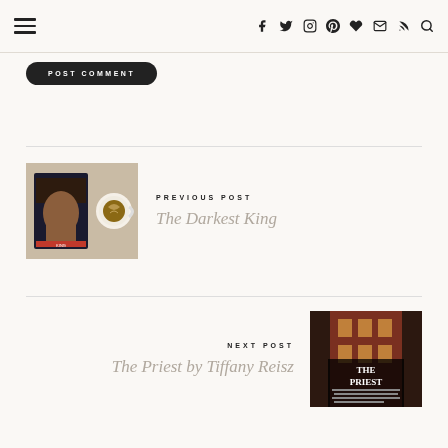Navigation header with hamburger menu and social icons (facebook, twitter, instagram, pinterest, heart/bloglovin, email, rss, search)
POST COMMENT
[Figure (illustration): Book cover image for 'The Darkest King' next to a latte coffee cup on a flat lay surface]
PREVIOUS POST
The Darkest King
NEXT POST
The Priest by Tiffany Reisz
[Figure (photo): Book cover image for 'The Priest' by Tiffany Reisz against a dark background of a building]